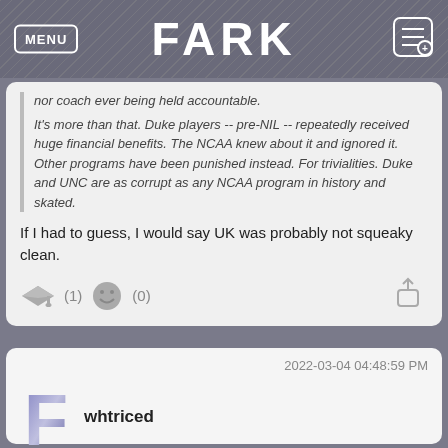MENU | FARK
nor coach ever being held accountable.
It's more than that. Duke players -- pre-NIL -- repeatedly received huge financial benefits. The NCAA knew about it and ignored it. Other programs have been punished instead. For trivialities. Duke and UNC are as corrupt as any NCAA program in history and skated.
If I had to guess, I would say UK was probably not squeaky clean.
(1)  (0)
2022-03-04 04:48:59 PM
whtriced